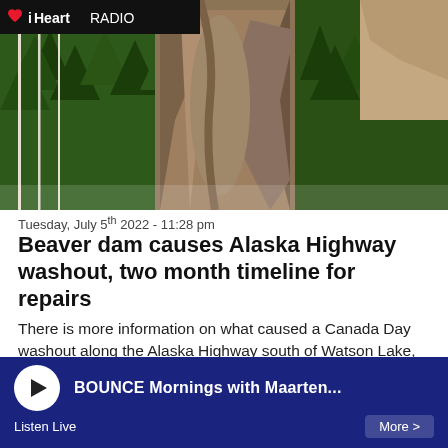[Figure (photo): Aerial view of forest and rocky landscape with what appears to be a washout or erosion area along the Alaska Highway, with green trees on the sides and exposed earth/rock in the center. iHeartRadio logo overlay in top-left corner.]
Tuesday, July 5th 2022 - 11:28 pm
Beaver dam causes Alaska Highway washout, two month timeline for repairs
There is more information on what caused a Canada Day washout along the Alaska Highway south of Watson Lake, but it could be two months before the highway reopens.
BOUNCE Mornings with Maarten... | Listen Live | More >